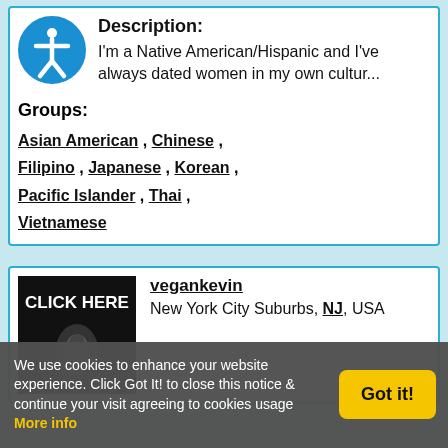Description: I'm a Native American/Hispanic and I've always dated women in my own cultur...
Groups: Asian American , Chinese , Filipino , Japanese , Korean , Pacific Islander , Thai , Vietnamese
[Figure (screenshot): Profile image with 'CLICK HERE' text on dark background]
vegankevin
New York City Suburbs, NJ, USA
We use cookies to enhance your website experience. Click Got It! to close this notice & continue your visit agreeing to cookies usage More info